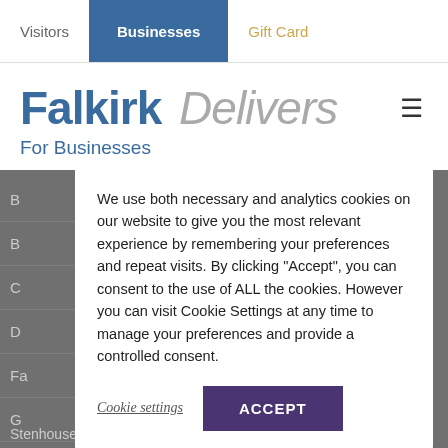Visitors | Businesses | Gift Card
Falkirk Delivers — For Businesses
We use both necessary and analytics cookies on our website to give you the most relevant experience by remembering your preferences and repeat visits. By clicking “Accept”, you can consent to the use of ALL the cookies. However you can visit Cookie Settings at any time to manage your preferences and provide a controlled consent.
Cookie settings  ACCEPT
Stenhousemuir